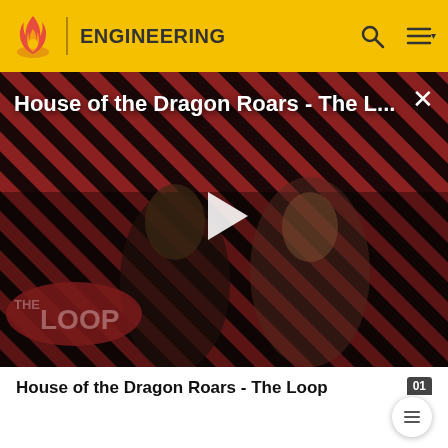ENGINEERING
[Figure (screenshot): Video thumbnail for 'House of the Dragon Roars - The Loop' with diagonal red and black stripes background, two characters from House of the Dragon, a play button in the center, and 'THE LOOP' logo in the bottom left.]
House of the Dragon Roars - The Loop
Template:Coord ||||||42 ||150||1989||
|-
|Gezhouba - Shanghai "GeSha" or "Ge-Nan"||China -